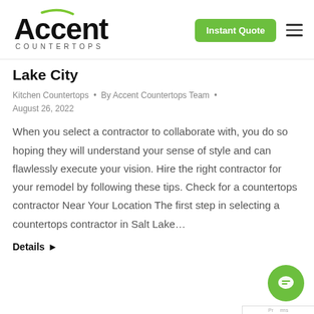[Figure (logo): Accent Countertops logo with green swoosh above the word Accent and COUNTERTOPS in spaced capitals below]
Lake City
Kitchen Countertops • By Accent Countertops Team • August 26, 2022
When you select a contractor to collaborate with, you do so hoping they will understand your sense of style and can flawlessly execute your vision. Hire the right contractor for your remodel by following these tips. Check for a countertops contractor Near Your Location The first step in selecting a countertops contractor in Salt Lake…
Details ▶